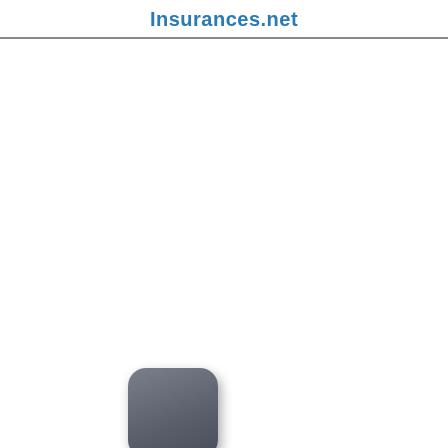Insurances.net
[Figure (illustration): A rounded square icon with dark gray gradient fill and subtle drop shadow, positioned in the lower-left area of the page.]